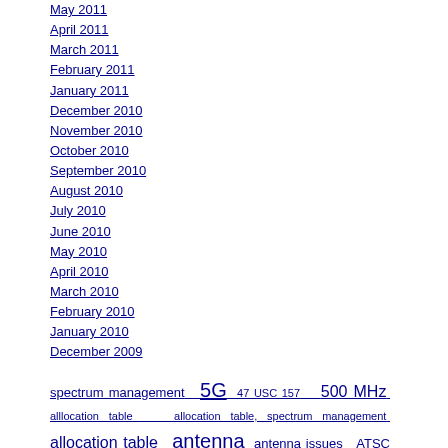May 2011
April 2011
March 2011
February 2011
January 2011
December 2010
November 2010
October 2010
September 2010
August 2010
July 2010
June 2010
May 2010
April 2010
March 2010
February 2010
January 2010
December 2009
spectrum management  5G  47 USC 157  500 MHz  alllocation table  allocation table, spectrum management  allocation table  antenna  antenna issues  ATSC 3.0  awards@FCC  Best Places to Work  broadband  broadcasting  Broadcasting  cell phone safety  Cell phone safety  cellphone unintended consequences  cellphone